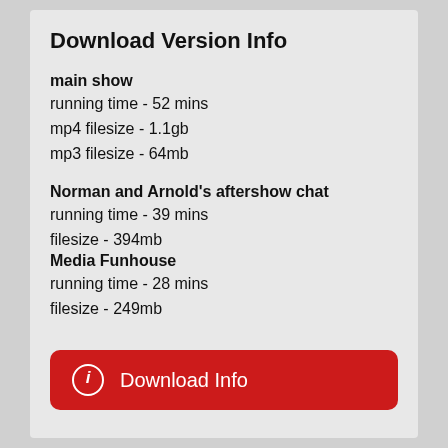Download Version Info
main show
running time - 52 mins
mp4 filesize - 1.1gb
mp3 filesize - 64mb
Norman and Arnold's aftershow chat
running time - 39 mins
filesize - 394mb
Media Funhouse
running time - 28 mins
filesize - 249mb
ⓘ  Download Info